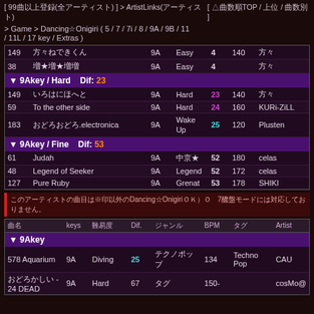[ 99曲以上登録(全アーティスト) ] > ArtistLinks(アーティスト)    [ △曲数順TOP / 上位 / 曲数別 ]
> Game > Dancing☆Onigiri ( 5 / 7 / 7i / 8 / 9A / 9B / 11 / 11L / 17 key / Extras )
| # | 曲名 | keys | 難易度 | Dif. | BPM | Artist |
| --- | --- | --- | --- | --- | --- | --- |
| 149 | yyyyyyyyyyy | 9A | Easy | 4 | 140 | yyyy |
| 38 | yy★yy★yyy | 9A | Easy | 4 |  | yyyy |
| section | 9Akey / Hard   Dif: 23 |
| 149 | yyyyyyyyyyy | 9A | Hard | 23 | 140 | yyyy |
| 59 | To the other side | 9A | Hard | 24 | 160 | KURi-ZiLL |
| 183 | yyyyyyy.electronica | 9A | Wake Up | 25 | 120 | Plusten |
| section | 9Akey / Fine   Dif: 53 |
| 61 | Judah | 9A | yy★ | 52 | 180 | celas |
| 48 | Legend of Seeker | 9A | Legend | 52 | 172 | celas |
| 127 | Pure Ruby | 9A | Grenat | 53 | 178 | SHIKI |
このアーティストの楽曲は※印以外のDancing☆Onigiri7鍵盤モードには対応しておりません。
| 曲名 | keys | 難易度 | Dif. | ジャンル | BPM | タグ | Artist |
| --- | --- | --- | --- | --- | --- | --- | --- |
| section | 9Akey |
| Aquarium | 9A | Diving | 25 | yyyyyyy | 134 | Techno Pop | CAU |
| yyyyyyy -
24 DEAD | 9A | Hard | 67 | yyy | 150- |  | cosMo@ |